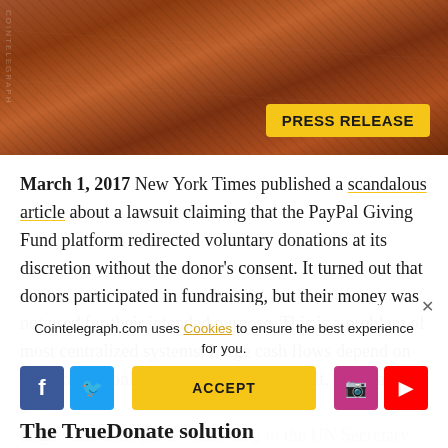[Figure (photo): Aerial city view with orange/brown tint, PRESS RELEASE badge in bottom right]
March 1, 2017 New York Times published a scandalous article about a lawsuit claiming that the PayPal Giving Fund platform redirected voluntary donations at its discretion without the donor's consent. It turned out that donors participated in fundraising, but their money was not used for their intended purpose. This is a problem of most centralized systems. Large cash flows depend on decisions of only a few people. As a result, this leads to a large-scale corruption. According to the UN Secretary General Ban Ki-moon, over 30% of funds transferred to cha...
Cointelegraph.com uses Cookies to ensure the best experience for you.
The TrueDonate solution